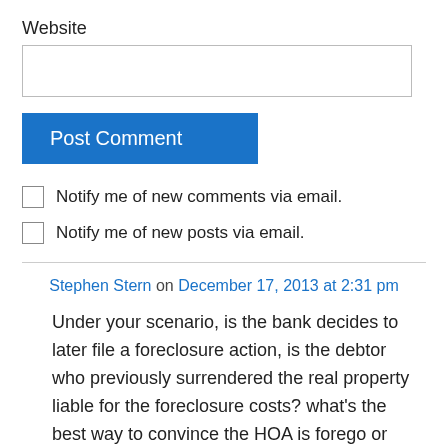Website
Post Comment
Notify me of new comments via email.
Notify me of new posts via email.
Stephen Stern on December 17, 2013 at 2:31 pm
Under your scenario, is the bank decides to later file a foreclosure action, is the debtor who previously surrendered the real property liable for the foreclosure costs? what's the best way to convince the HOA is forego or seriously reduce